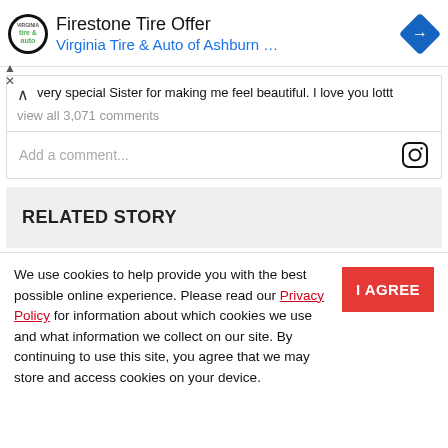[Figure (screenshot): Ad banner for Firestone Tire Offer by Virginia Tire & Auto of Ashburn with logo and navigation arrow icon]
very special Sister for making me feel beautiful. I love you lottt
view all 3,071 comments
Add a comment...
RELATED STORY
We use cookies to help provide you with the best possible online experience. Please read our Privacy Policy for information about which cookies we use and what information we collect on our site. By continuing to use this site, you agree that we may store and access cookies on your device.